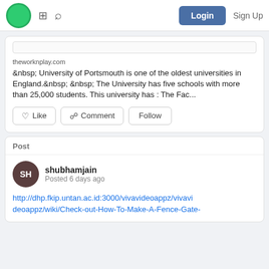Login  Sign Up
theworknplay.com
&nbsp; University of Portsmouth is one of the oldest universities in England.&nbsp; &nbsp; The University has five schools with more than 25,000 students. This university has : The Fac...
Like
Comment
Follow
Post
shubhamjain
Posted 6 days ago
http://dhp.fkip.untan.ac.id:3000/vivavideoappz/vivavideoappz/wiki/Check-out-How-To-Make-A-Fence-Gate-